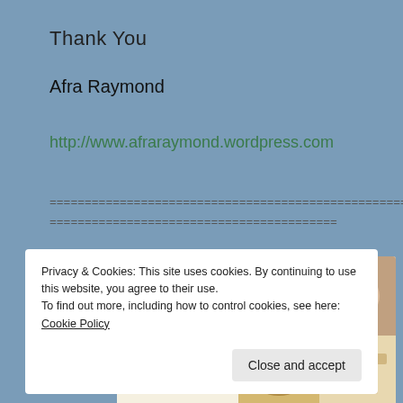Thank You
Afra Raymond
http://www.afraraymond.wordpress.com
============================================================
=========================================
[Figure (screenshot): WordPress website promo screenshot showing 'Explore options' button and food/app images]
Privacy & Cookies: This site uses cookies. By continuing to use this website, you agree to their use.
To find out more, including how to control cookies, see here: Cookie Policy

Close and accept